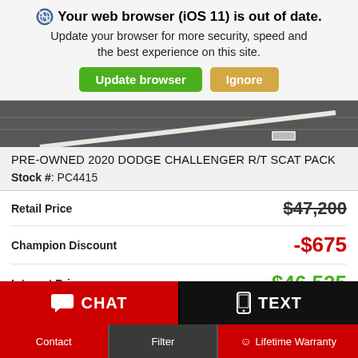Your web browser (iOS 11) is out of date. Update your browser for more security, speed and the best experience on this site. [Update browser] [Ignore]
[Figure (photo): Partial photo of a car on asphalt road surface with a white line visible]
PRE-OWNED 2020 DODGE CHALLENGER R/T SCAT PACK
Stock #: PC4415
| Label | Value |
| --- | --- |
| Retail Price | $47,200 |
| Champion Discount | -$675 |
| Internet Price | $46,525 |
| * Finance For: | $582 / month † |
CHAT
TEXT
Contact   Filter   ☺ Lifetime Warranty